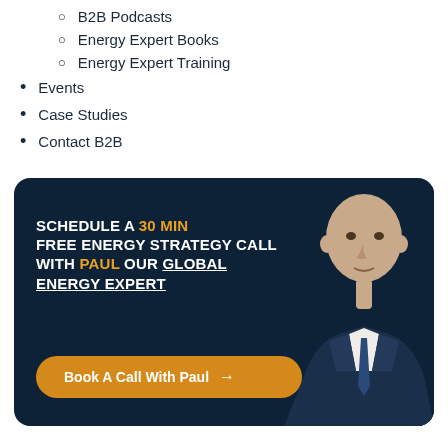B2B Podcasts
Energy Expert Books
Energy Expert Training
Events
Case Studies
Contact B2B
[Figure (photo): Dark navy banner with a bald man in a suit on the right side, bold white and orange text on the left reading 'SCHEDULE A 30 MIN FREE ENERGY STRATEGY CALL WITH PAUL OUR GLOBAL ENERGY EXPERT', and an orange rounded button at the bottom reading 'Book A Call With Paul →']